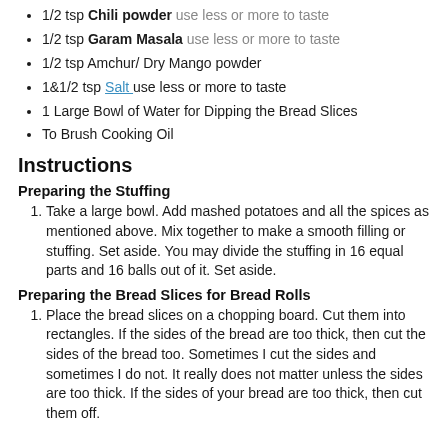1/2 tsp Chili powder use less or more to taste
1/2 tsp Garam Masala use less or more to taste
1/2 tsp Amchur/ Dry Mango powder
1&1/2 tsp Salt use less or more to taste
1 Large Bowl of Water for Dipping the Bread Slices
To Brush Cooking Oil
Instructions
Preparing the Stuffing
Take a large bowl. Add mashed potatoes and all the spices as mentioned above. Mix together to make a smooth filling or stuffing. Set aside. You may divide the stuffing in 16 equal parts and 16 balls out of it. Set aside.
Preparing the Bread Slices for Bread Rolls
Place the bread slices on a chopping board. Cut them into rectangles. If the sides of the bread are too thick, then cut the sides of the bread too. Sometimes I cut the sides and sometimes I do not. It really does not matter unless the sides are too thick. If the sides of your bread are too thick, then cut them off.